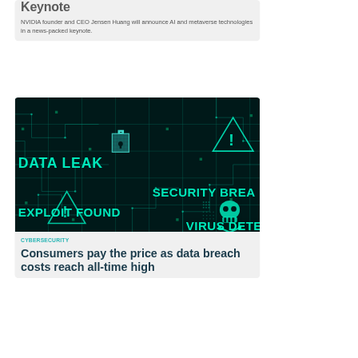Keynote
NVIDIA founder and CEO Jensen Huang will announce AI and metaverse technologies in a news-packed keynote.
[Figure (photo): Cybersecurity themed image showing a digital circuit board background with a padlock, skull icons, and text overlays reading DATA LEAK, SECURITY BREACH, EXPLOIT FOUND, VIRUS DETECTED in teal/green tones]
CYBERSECURITY
Consumers pay the price as data breach costs reach all-time high